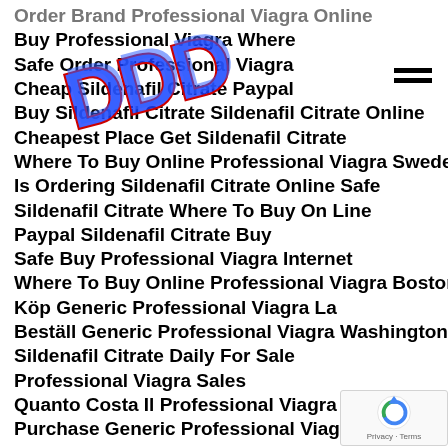Order Brand Professional Viagra Online
Buy Professional Viagra Where
Safe Order Professional Viagra
Cheap Sildenafil Citrate Paypal
Buy Sildenafil Citrate Sildenafil Citrate Online
Cheapest Place Get Sildenafil Citrate
Where To Buy Online Professional Viagra Sweden
Is Ordering Sildenafil Citrate Online Safe
Sildenafil Citrate Where To Buy On Line
Paypal Sildenafil Citrate Buy
Safe Buy Professional Viagra Internet
Where To Buy Online Professional Viagra Boston
Köp Generic Professional Viagra La
Beställ Generic Professional Viagra Washington
Sildenafil Citrate Daily For Sale
Professional Viagra Sales
Quanto Costa Il Professional Viagra In Svizzera
Purchase Generic Professional Viagra
[Figure (logo): Bold stylized 'BOSS' or similar watermark text logo overlaid in top-left area]
[Figure (illustration): Hamburger menu icon (three horizontal bars) at top right]
[Figure (logo): Google reCAPTCHA badge at bottom right with circular arrow icon and Privacy/Terms text]